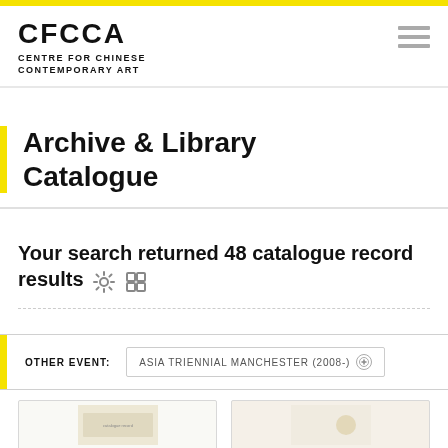CFCCA — CENTRE FOR CHINESE CONTEMPORARY ART
Archive & Library Catalogue
Your search returned 48 catalogue record results
OTHER EVENT: ASIA TRIENNIAL MANCHESTER (2008-)
[Figure (photo): Two thumbnail images of catalogue records from the search results]